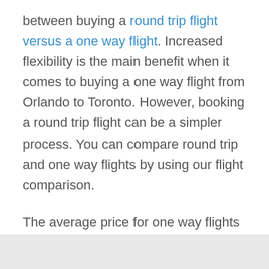between buying a round trip flight versus a one way flight. Increased flexibility is the main benefit when it comes to buying a one way flight from Orlando to Toronto. However, booking a round trip flight can be a simpler process. You can compare round trip and one way flights by using our flight comparison.
The average price for one way flights from Orlando to Toronto is $97.
The average price for round trip flights from Orlando to Toronto is $214.